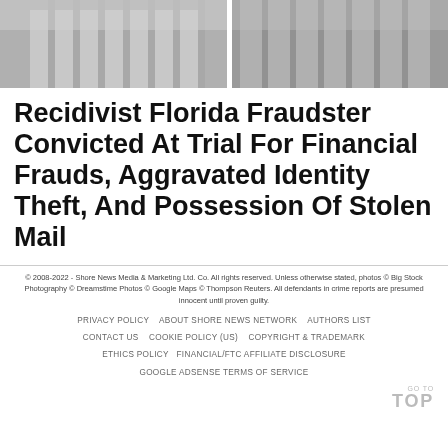[Figure (photo): Photo of stone courthouse columns, split into two panels with a white divider]
Recidivist Florida Fraudster Convicted At Trial For Financial Frauds, Aggravated Identity Theft, And Possession Of Stolen Mail
© 2008-2022 - Shore News Media & Marketing Ltd. Co. All rights reserved. Unless otherwise stated, photos © Big Stock Photography © Dreamstime Photos © Google Maps © Thompson Reuters. All defendants in crime reports are presumed innocent until proven guilty.
PRIVACY POLICY    ABOUT SHORE NEWS NETWORK    AUTHORS LIST    CONTACT US    COOKIE POLICY (US)    COPYRIGHT & TRADEMARK    ETHICS POLICY    FINANCIAL/FTC AFFILIATE DISCLOSURE    GOOGLE ADSENSE TERMS OF SERVICE
GO TO TOP